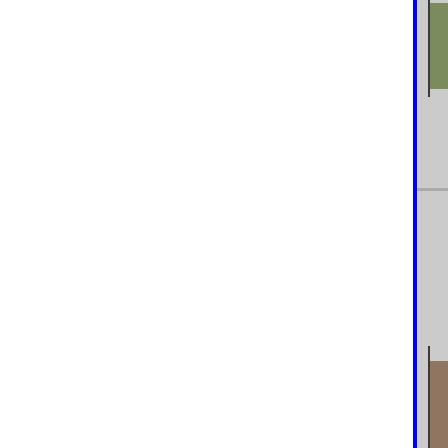[Figure (photo): Small product photo thumbnail in top-right corner, partially visible]
FE SS-polished oil fill tub
[Figure (photo): Product photo thumbnail showing polished oil fill tube component]
427 F.
New